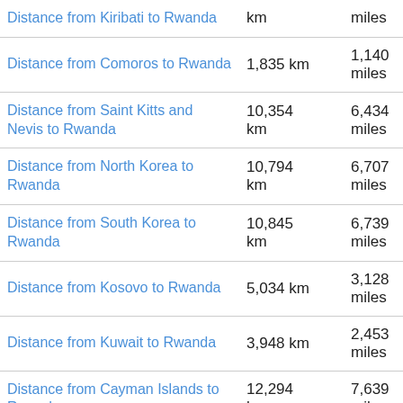| Route | km | miles |
| --- | --- | --- |
| Distance from Kiribati to Rwanda | km | miles |
| Distance from Comoros to Rwanda | 1,835 km | 1,140 miles |
| Distance from Saint Kitts and Nevis to Rwanda | 10,354 km | 6,434 miles |
| Distance from North Korea to Rwanda | 10,794 km | 6,707 miles |
| Distance from South Korea to Rwanda | 10,845 km | 6,739 miles |
| Distance from Kosovo to Rwanda | 5,034 km | 3,128 miles |
| Distance from Kuwait to Rwanda | 3,948 km | 2,453 miles |
| Distance from Cayman Islands to Rwanda | 12,294 km | 7,639 miles |